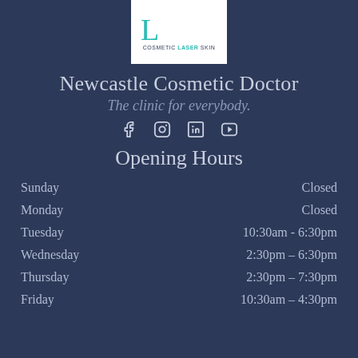[Figure (logo): Cosmetic Laser Skin clinic logo — large teal L shape with 'COSMETIC LASER SKIN' text below on white background]
Newcastle Cosmetic Doctor
The clinic for everybody.
[Figure (infographic): Social media icons: Facebook, Instagram, LinkedIn, YouTube]
Opening Hours
| Day | Hours |
| --- | --- |
| Sunday | Closed |
| Monday | Closed |
| Tuesday | 10:30am - 6:30pm |
| Wednesday | 2:30pm – 6:30pm |
| Thursday | 2:30pm – 7:30pm |
| Friday | 10:30am – 4:30pm |